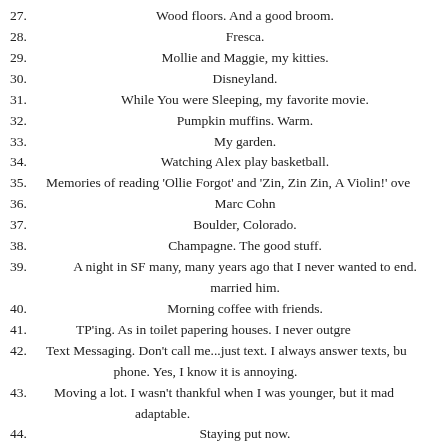27. Wood floors. And a good broom.
28. Fresca.
29. Mollie and Maggie, my kitties.
30. Disneyland.
31. While You were Sleeping, my favorite movie.
32. Pumpkin muffins. Warm.
33. My garden.
34. Watching Alex play basketball.
35. Memories of reading 'Ollie Forgot' and 'Zin, Zin Zin, A Violin!' ove
36. Marc Cohn
37. Boulder, Colorado.
38. Champagne. The good stuff.
39. A night in SF many, many years ago that I never wanted to end. married him.
40. Morning coffee with friends.
41. TP'ing. As in toilet papering houses. I never outgre
42. Text Messaging. Don't call me...just text. I always answer texts, bu phone. Yes, I know it is annoying.
43. Moving a lot. I wasn't thankful when I was younger, but it mad adaptable.
44. Staying put now.
45. Listening to Matthew sing. He's a trumpet player, but has an in
46. Worshipping with all of us in a pew.
47. Maui Jim sunglasses. A splurge.
48. Girlfriends. You know who you are.